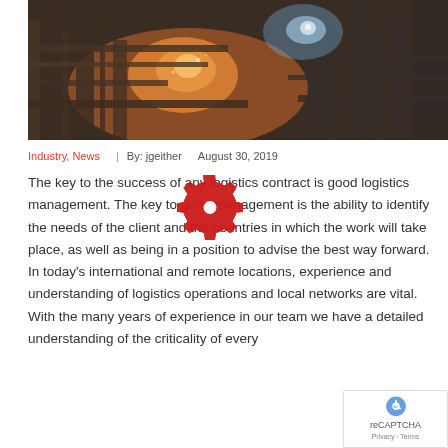[Figure (photo): Industrial factory/smelting facility interior with orange fire glow and bright blue-white light, heavy machinery and pipes visible, dark atmospheric industrial setting]
Industry, News   By: jgeither   August 30, 2019
The key to the success of any logistics contract is good logistics management. The key to good management is the ability to identify the needs of the client and the countries in which the work will take place, as well as being in a position to advise the best way forward. In today's international and remote locations, experience and understanding of logistics operations and local networks are vital. With the many years of experience in our team we have a detailed understanding of the criticality of every